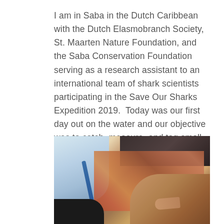I am in Saba in the Dutch Caribbean with the Dutch Elasmobranch Society, St. Maarten Nature Foundation, and the Saba Conservation Foundation serving as a research assistant to an international team of shark scientists participating in the Save Our Sharks Expedition 2019.  Today was our first day out on the water and our objective was to catch, measure, and tag small sharks on the Saba Bank.
[Figure (photo): A photograph showing what appears to be hands working on or measuring something on a patterned surface, likely related to shark tagging/measuring activity on a boat. One person in a light blue shirt is visible on the left, a measuring instrument (blue ruler or pen) is visible, and a hand pointing at the subject is visible on the right.]